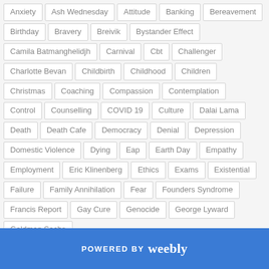Anxiety
Ash Wednesday
Attitude
Banking
Bereavement
Birthday
Bravery
Breivik
Bystander Effect
Camila Batmanghelidjh
Carnival
Cbt
Challenger
Charlotte Bevan
Childbirth
Childhood
Children
Christmas
Coaching
Compassion
Contemplation
Control
Counselling
COVID 19
Culture
Dalai Lama
Death
Death Cafe
Democracy
Denial
Depression
Domestic Violence
Dying
Eap
Earth Day
Empathy
Employment
Eric Klinenberg
Ethics
Exams
Existential
Failure
Family Annihilation
Fear
Founders Syndrome
Francis Report
Gay Cure
Genocide
George Lyward
Goldman Sachs
POWERED BY weebly